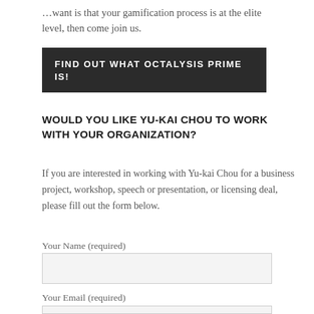…want is that your gamification process is at the elite level, then come join us.
FIND OUT WHAT OCTALYSIS PRIME IS!
WOULD YOU LIKE YU-KAI CHOU TO WORK WITH YOUR ORGANIZATION?
If you are interested in working with Yu-kai Chou for a business project, workshop, speech or presentation, or licensing deal, please fill out the form below.
Your Name (required)
Your Email (required)